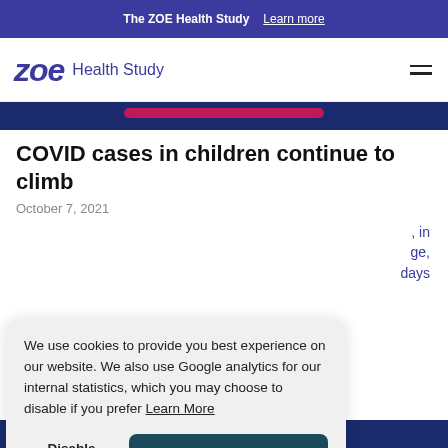The ZOE Health Study  Learn more
zoe Health Study
[Figure (photo): Partial dark navy blue image strip with pink/magenta horizontal bar element, top portion of an article hero image]
COVID cases in children continue to climb
October 7, 2021
We use cookies to provide you best experience on our website. We also use Google analytics for our internal statistics, which you may choose to disable if you prefer  Learn More
Disable analytics   Got it
[Figure (photo): Partial dark navy image strip at bottom with pink/magenta virus/star shape icon — bottom of article hero image]